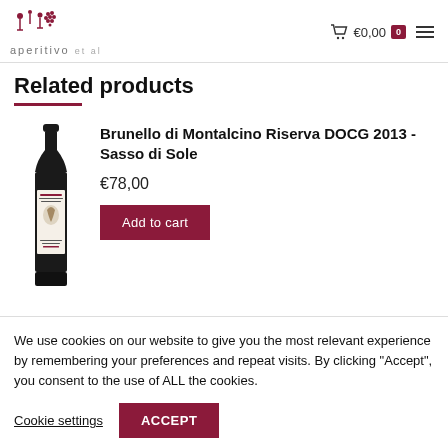aperitivo et al — €0,00 cart
Related products
[Figure (photo): Wine bottle: Brunello di Montalcino Riserva DOCG 2013 - Sasso di Sole]
Brunello di Montalcino Riserva DOCG 2013 - Sasso di Sole
€78,00
Add to cart
We use cookies on our website to give you the most relevant experience by remembering your preferences and repeat visits. By clicking "Accept", you consent to the use of ALL the cookies.
Cookie settings  ACCEPT